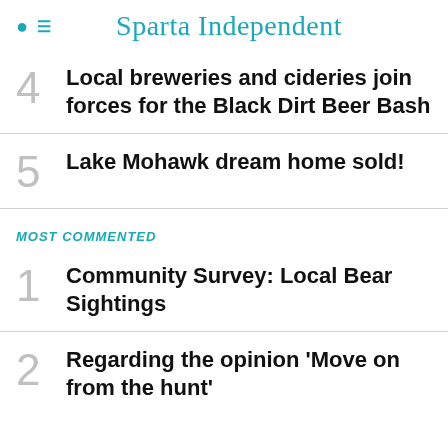Sparta Independent
4 Local breweries and cideries join forces for the Black Dirt Beer Bash
5 Lake Mohawk dream home sold!
MOST COMMENTED
1 Community Survey: Local Bear Sightings
2 Regarding the opinion 'Move on from the hunt'